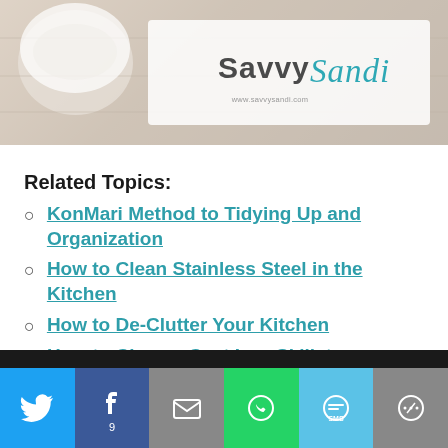[Figure (logo): Savvy Sandi blog logo on a light wooden background with a white background panel]
Related Topics:
KonMari Method to Tidying Up and Organization
How to Clean Stainless Steel in the Kitchen
How to De-Clutter Your Kitchen
How to Clean a Cast Iron Skillet
[Figure (infographic): Social sharing bar with Twitter, Facebook (9), Email, WhatsApp, SMS, and More buttons]